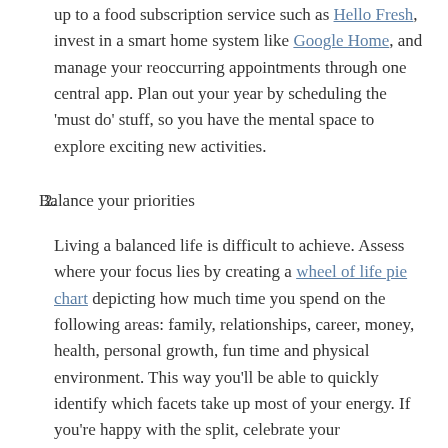up to a food subscription service such as Hello Fresh, invest in a smart home system like Google Home, and manage your reoccurring appointments through one central app. Plan out your year by scheduling the 'must do' stuff, so you have the mental space to explore exciting new activities.
2. Balance your priorities
Living a balanced life is difficult to achieve. Assess where your focus lies by creating a wheel of life pie chart depicting how much time you spend on the following areas: family, relationships, career, money, health, personal growth, fun time and physical environment. This way you'll be able to quickly identify which facets take up most of your energy. If you're happy with the split, celebrate your wonderfully balanced life! If a big piece of your pie is dedicated to an area which you deem overkill, think about ways to shift your focus.